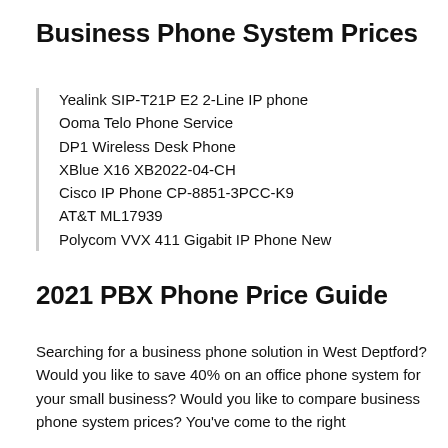Business Phone System Prices
Yealink SIP-T21P E2 2-Line IP phone
Ooma Telo Phone Service
DP1 Wireless Desk Phone
XBlue X16 XB2022-04-CH
Cisco IP Phone CP-8851-3PCC-K9
AT&T ML17939
Polycom VVX 411 Gigabit IP Phone New
2021 PBX Phone Price Guide
Searching for a business phone solution in West Deptford? Would you like to save 40% on an office phone system for your small business? Would you like to compare business phone system prices? You've come to the right